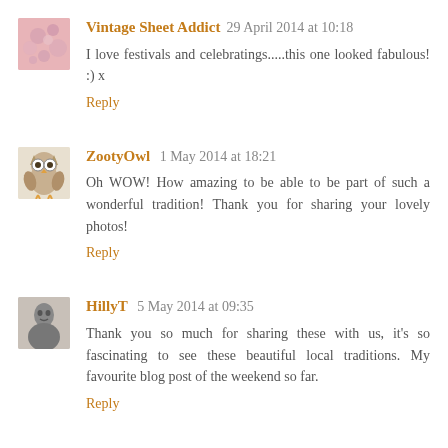Vintage Sheet Addict 29 April 2014 at 10:18
I love festivals and celebratings.....this one looked fabulous! :) x
Reply
ZootyOwl 1 May 2014 at 18:21
Oh WOW! How amazing to be able to be part of such a wonderful tradition! Thank you for sharing your lovely photos!
Reply
HillyT 5 May 2014 at 09:35
Thank you so much for sharing these with us, it's so fascinating to see these beautiful local traditions. My favourite blog post of the weekend so far.
Reply